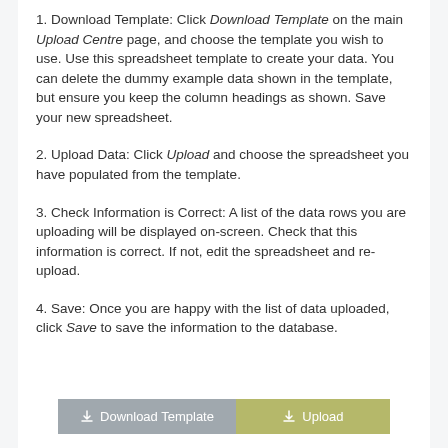1. Download Template: Click Download Template on the main Upload Centre page, and choose the template you wish to use. Use this spreadsheet template to create your data. You can delete the dummy example data shown in the template, but ensure you keep the column headings as shown. Save your new spreadsheet.
2. Upload Data: Click Upload and choose the spreadsheet you have populated from the template.
3. Check Information is Correct: A list of the data rows you are uploading will be displayed on-screen. Check that this information is correct. If not, edit the spreadsheet and re-upload.
4. Save: Once you are happy with the list of data uploaded, click Save to save the information to the database.
[Figure (screenshot): Two buttons at the bottom: a grey 'Download Template' button with an upload icon, and an olive/yellow-green 'Upload' button with an upload icon.]